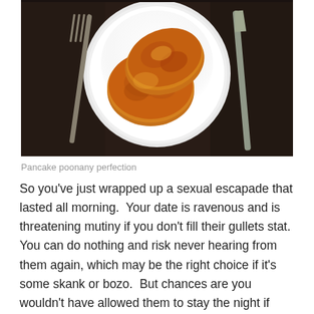[Figure (photo): Overhead view of a plate with pancakes on a dark tablecloth with cutlery (fork and knife) on either side]
Pancake poonany perfection
So you've just wrapped up a sexual escapade that lasted all morning.  Your date is ravenous and is threatening mutiny if you don't fill their gullets stat.  You can do nothing and risk never hearing from them again, which may be the right choice if it's some skank or bozo.  But chances are you wouldn't have allowed them to stay the night if they weren't worth making a little effort to feed.  If all goes to plan, the afternoon can be a sequel to the morning's kinky